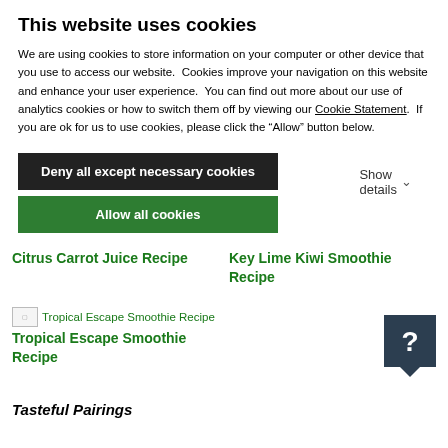This website uses cookies
We are using cookies to store information on your computer or other device that you use to access our website.  Cookies improve your navigation on this website and enhance your user experience.  You can find out more about our use of analytics cookies or how to switch them off by viewing our Cookie Statement.  If you are ok for us to use cookies, please click the “Allow” button below.
Deny all except necessary cookies
Allow all cookies
Show details
Citrus Carrot Juice Recipe
Key Lime Kiwi Smoothie Recipe
[Figure (photo): Broken image placeholder for Tropical Escape Smoothie Recipe]
Tropical Escape Smoothie Recipe
[Figure (other): Dark help/chat bubble icon with a question mark]
Tasteful Pairings